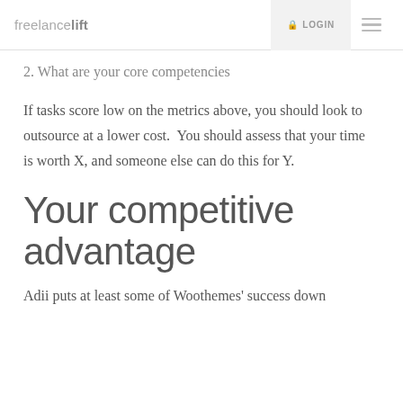freelancelift LOGIN
2. What are your core competencies
If tasks score low on the metrics above, you should look to outsource at a lower cost.  You should assess that your time is worth X, and someone else can do this for Y.
Your competitive advantage
Adii puts at least some of Woothemes' success down